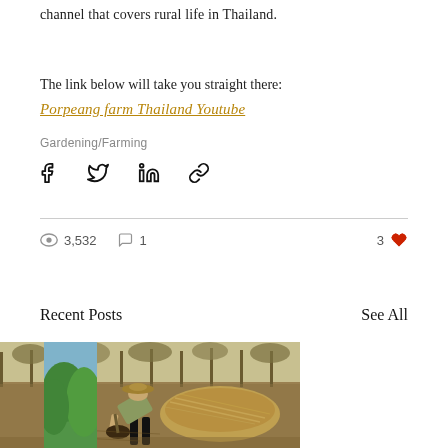channel that covers rural life in Thailand.
The link below will take you straight there:
Porpeang farm Thailand Youtube
Gardening/Farming
[Figure (other): Social share icons: Facebook, Twitter, LinkedIn, link/chain icon]
3,532  1  3
Recent Posts
See All
[Figure (photo): Three thumbnail images side by side: left partial bamboo/brown texture, center photo of person bending over digging near a pile of dried grass/hay in an open field with trees in background, right partial green vegetation/trees]